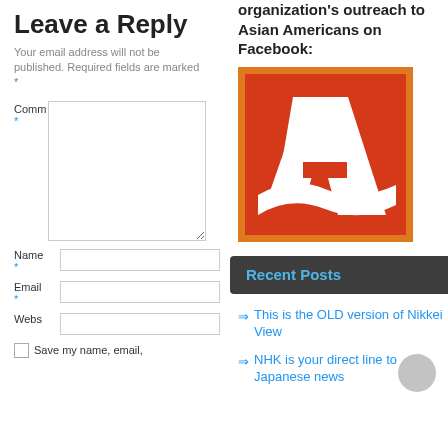Leave a Reply
Your email address will not be published. Required fields are marked *
Comment *
Name *
Email *
Website
Save my name, email,
organization's outreach to Asian Americans on Facebook:
[Figure (logo): Red square logo with large white letter A and white swoosh/wave design at bottom]
Recent Posts
This is the OLD version of Nikkei View
NHK is your direct line to Japanese news